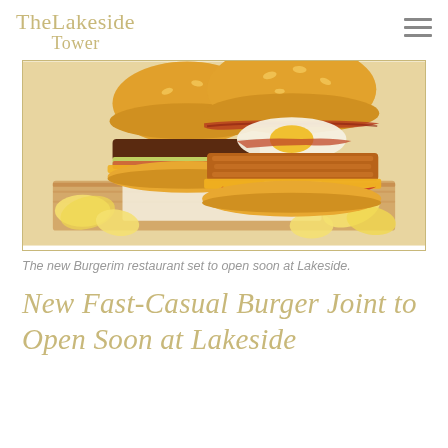The Lakeside Tower
[Figure (photo): Two large gourmet burgers with melted cheese, bacon, fried egg, and lettuce on a wooden board surrounded by potato chips/crisps]
The new Burgerim restaurant set to open soon at Lakeside.
New Fast-Casual Burger Joint to Open Soon at Lakeside